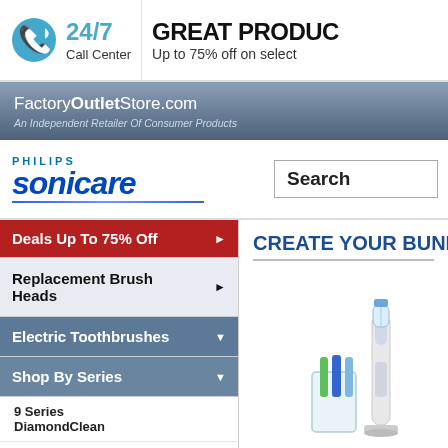[Figure (logo): Phone icon - blue circle with phone handset]
24/7
Call Center
GREAT PRODUCTS
Up to 75% off on select
FactoryOutletStore.com - An Independent Retailer Of Consumer Products
[Figure (logo): Philips Sonicare logo - PHILIPS in blue uppercase, sonicare in dark blue bold italic]
Search
Deals Up To 75% Off ▶
Replacement Brush Heads ▶
Electric Toothbrushes ▾
Shop By Series ▾
9 Series
DiamondClean
CREATE YOUR BUNDLE
[Figure (photo): Electric toothbrush product photo - white DiamondClean toothbrush with glass and brush heads]